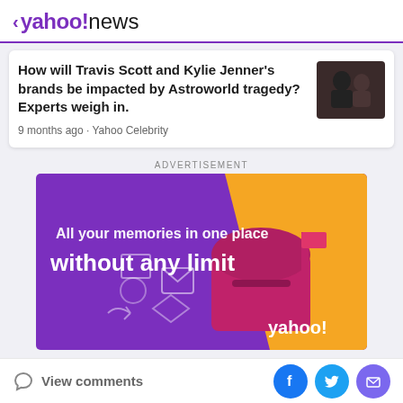< yahoo!news
How will Travis Scott and Kylie Jenner's brands be impacted by Astroworld tragedy? Experts weigh in.
9 months ago · Yahoo Celebrity
ADVERTISEMENT
[Figure (illustration): Yahoo Mail advertisement banner: purple and orange background with a pink mailbox. Text reads 'All your memories in one place without any limit' with yahoo! branding.]
View comments